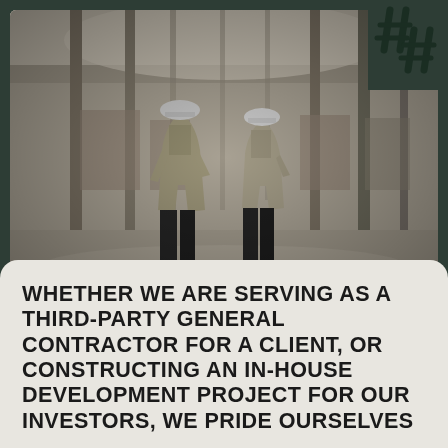[Figure (photo): Black and white photograph of two construction workers in safety vests and hard hats walking through a large industrial or warehouse building under construction, viewed from behind. The building has many vertical columns and a high ceiling.]
WHETHER WE ARE SERVING AS A THIRD-PARTY GENERAL CONTRACTOR FOR A CLIENT, OR CONSTRUCTING AN IN-HOUSE DEVELOPMENT PROJECT FOR OUR INVESTORS, WE PRIDE OURSELVES